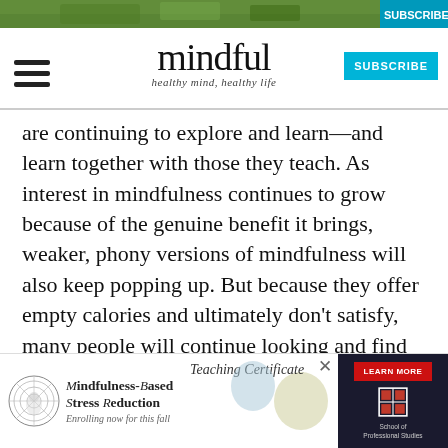[Figure (screenshot): Green nature photo banner at top of page]
mindful — healthy mind, healthy life — SUBSCRIBE button
are continuing to explore and learn—and learn together with those they teach. As interest in mindfulness continues to grow because of the genuine benefit it brings, weaker, phony versions of mindfulness will also keep popping up. But because they offer empty calories and ultimately don't satisfy, many people will continue looking and find their way to authentic mindfulness. And we'll all be better for it.
[Figure (infographic): Advertisement for Mindfulness-Based Stress Reduction Teaching Certificate — Enrolling now for this fall. Left side shows circular mandala logo, gold/green oval accent, cursive-style text. Right side shows Learn More button and School of Professional Studies logo on dark background.]